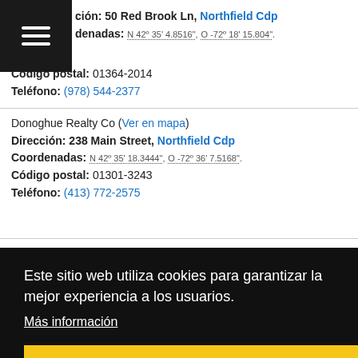ción: 50 Red Brook Ln, Northfield Cdp
Coordenadas: N 42° 35' 4.8516", O -72° 18' 15.804".
Código postal: 01364-2014
Teléfono: (978) 544-2377
Donoghue Realty Co (Ver en mapa)
Dirección: 238 Main Street, Northfield Cdp
Coordenadas: N 42° 35' 18.3444", O -72° 36' 7.5168".
Código postal: 01301-3243
Teléfono: (413) 772-2575
Este sitio web utiliza cookies para garantizar la mejor experiencia a los usuarios.
Más información
De acuerdo
Teléfono: (917) 696-9751